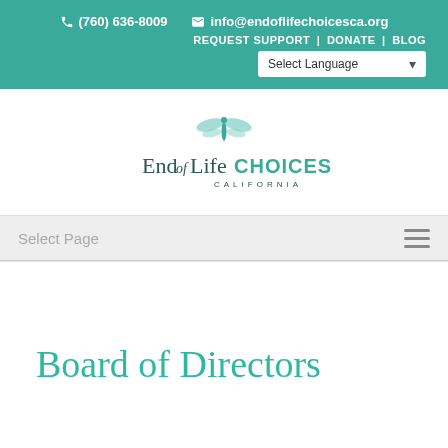(760) 636-8009  info@endoflifechoicesca.org  REQUEST SUPPORT | DONATE | BLOG  Select Language
[Figure (logo): End of Life Choices California logo with dragonfly]
Select Page
Board of Directors